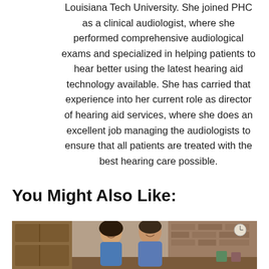Louisiana Tech University. She joined PHC as a clinical audiologist, where she performed comprehensive audiological exams and specialized in helping patients to hear better using the latest hearing aid technology available. She has carried that experience into her current role as director of hearing aid services, where she does an excellent job managing the audiologists to ensure that all patients are treated with the best hearing care possible.
You Might Also Like:
[Figure (photo): Photo of a couple sitting together, smiling, in a warm indoor setting with wooden furniture and brick wall background.]